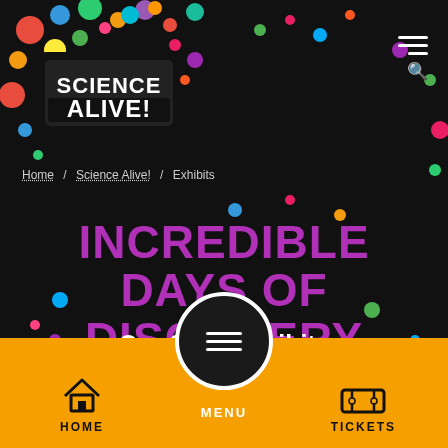[Figure (logo): Science Alive! logo with colorful circles and dark background badge]
Home / Science Alive! / Exhibits
INCREDIBLE DAYS OF DISCOVERY
Our 2022 Exhibits
[Figure (infographic): Menu circle button with hamburger lines and MENU label on orange bottom navigation bar with HOME and TICKETS icons]